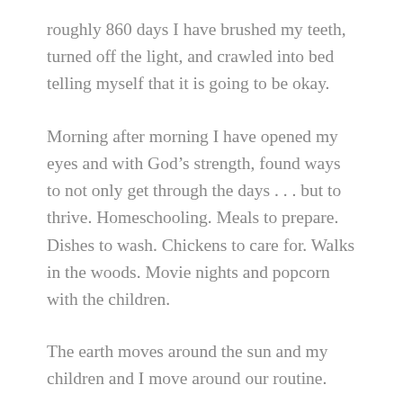roughly 860 days I have brushed my teeth, turned off the light, and crawled into bed telling myself that it is going to be okay.
Morning after morning I have opened my eyes and with God’s strength, found ways to not only get through the days . . . but to thrive. Homeschooling. Meals to prepare. Dishes to wash. Chickens to care for. Walks in the woods. Movie nights and popcorn with the children.
The earth moves around the sun and my children and I move around our routine.